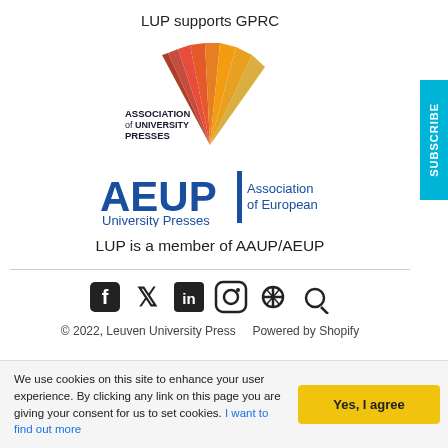LUP supports GPRC
[Figure (logo): Association of University Presses logo with stylized fan/rays graphic in red-orange gradient]
[Figure (logo): AEUP - Association of European University Presses logo in blue]
LUP is a member of AAUP/AEUP
[Figure (infographic): Social media icons: Facebook, Twitter, LinkedIn, Instagram, Search]
© 2022, Leuven University Press    Powered by Shopify
We use cookies on this site to enhance your user experience. By clicking any link on this page you are giving your consent for us to set cookies. I want to find out more